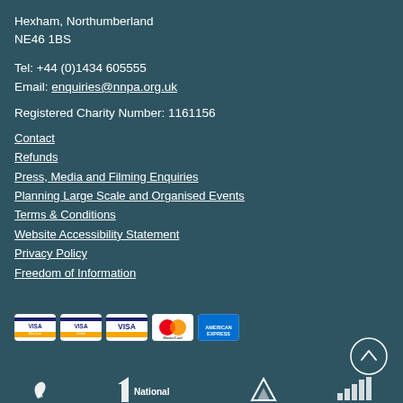Hexham, Northumberland
NE46 1BS
Tel: +44 (0)1434 605555
Email: enquiries@nnpa.org.uk
Registered Charity Number: 1161156
Contact
Refunds
Press, Media and Filming Enquiries
Planning Large Scale and Organised Events
Terms & Conditions
Website Accessibility Statement
Privacy Policy
Freedom of Information
[Figure (other): Payment method icons: Visa Electron, Visa Debit, Visa, MasterCard, American Express]
[Figure (other): Back to top button (circle with up arrow)]
[Figure (other): Bottom logos row: partial logos of partner organisations]